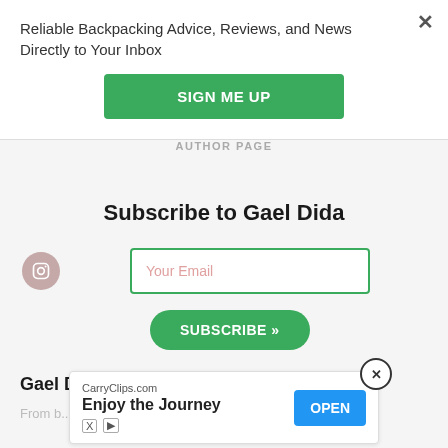Reliable Backpacking Advice, Reviews, and News Directly to Your Inbox
SIGN ME UP
AUTHOR PAGE
Subscribe to Gael Dida
[Figure (illustration): Instagram icon button, circular pinkish-gray background with white camera icon]
Your Email
SUBSCRIBE »
Gael Dida's Bio
From b... ack
[Figure (infographic): Advertisement banner: CarryClips.com — Enjoy the Journey — OPEN button, with close X button, and ad attribution icons]